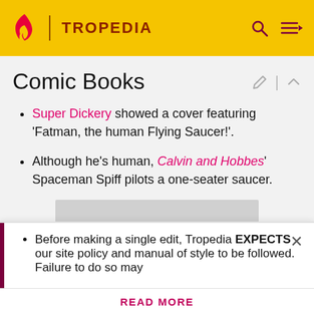TROPEDIA
Comic Books
Super Dickery showed a cover featuring 'Fatman, the human Flying Saucer!'.
Although he's human, Calvin and Hobbes' Spaceman Spiff pilots a one-seater saucer.
[Figure (other): Gray rectangular image placeholder]
Before making a single edit, Tropedia EXPECTS our site policy and manual of style to be followed. Failure to do so may
READ MORE